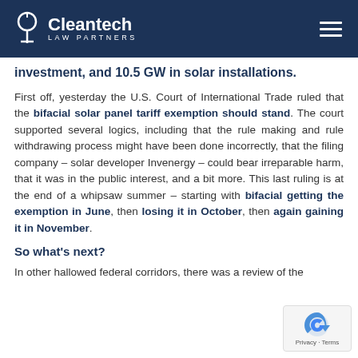Cleantech Law Partners
investment, and 10.5 GW in solar installations.
First off, yesterday the U.S. Court of International Trade ruled that the bifacial solar panel tariff exemption should stand. The court supported several logics, including that the rule making and rule withdrawing process might have been done incorrectly, that the filing company – solar developer Invenergy – could bear irreparable harm, that it was in the public interest, and a bit more. This last ruling is at the end of a whipsaw summer – starting with bifacial getting the exemption in June, then losing it in October, then again gaining it in November.
So what's next?
In other hallowed federal corridors, there was a review of the